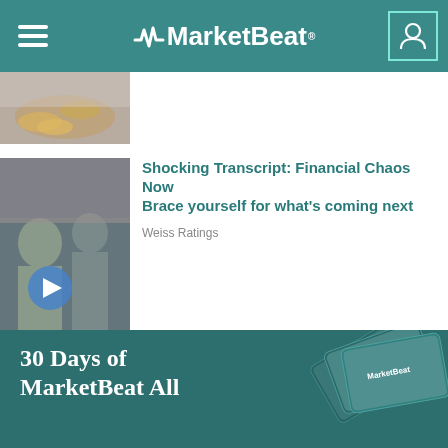MarketBeat
[Figure (photo): Partial view of coins/currency image at top]
Shocking Transcript: Financial Chaos Now Brace yourself for what's coming next
Weiss Ratings
US Dollar Replaced By "Biden Bucks"?
Paradigm Press
[Figure (photo): Banner with text '30 Days of MarketBeat All' and stacked MarketBeat branded cards on right side]